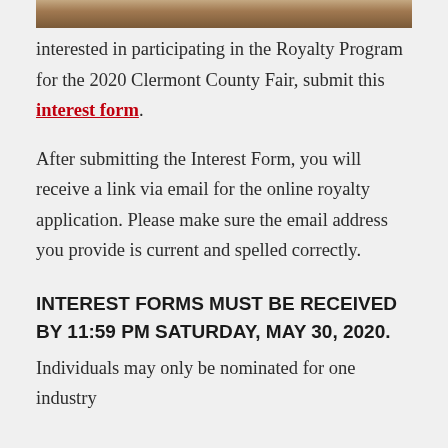[Figure (photo): Partial photo strip of person(s) at top of page]
interested in participating in the Royalty Program for the 2020 Clermont County Fair, submit this interest form.
After submitting the Interest Form, you will receive a link via email for the online royalty application. Please make sure the email address you provide is current and spelled correctly.
INTEREST FORMS MUST BE RECEIVED BY 11:59 PM SATURDAY, MAY 30, 2020.
Individuals may only be nominated for one industry